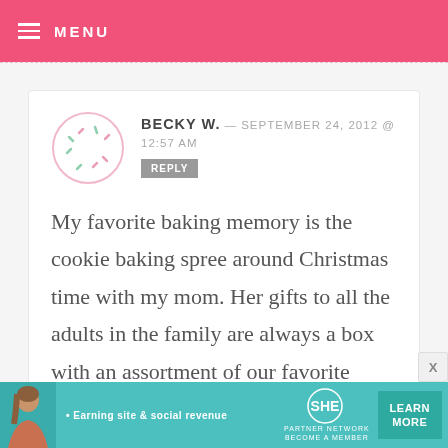MENU
BECKY W. — SEPTEMBER 24, 2012 @ 12:57 AM
REPLY
My favorite baking memory is the cookie baking spree around Christmas time with my mom. Her gifts to all the adults in the family are always a box with an assortment of our favorite cookies. But being the next in line family baker, I started to help out when I was in high school and it is
[Figure (infographic): SHE Partner Network advertisement banner with photo of woman, text 'Earning site & social revenue', SHE logo, PARTNER NETWORK BECOME A MEMBER, and LEARN MORE button]